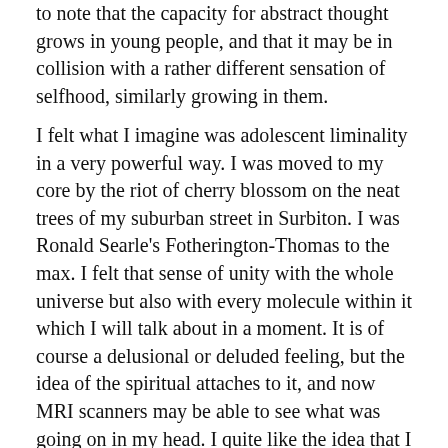to note that the capacity for abstract thought grows in young people, and that it may be in collision with a rather different sensation of selfhood, similarly growing in them.
I felt what I imagine was adolescent liminality in a very powerful way. I was moved to my core by the riot of cherry blossom on the neat trees of my suburban street in Surbiton. I was Ronald Searle's Fotherington-Thomas to the max. I felt that sense of unity with the whole universe but also with every molecule within it which I will talk about in a moment. It is of course a delusional or deluded feeling, but the idea of the spiritual attaches to it, and now MRI scanners may be able to see what was going on in my head. I quite like the idea that I can call my Fotherington-Thomas liminal if I want, not least because it fits rather well with what I imagine MRI scanners are attributing that to. But I was to...